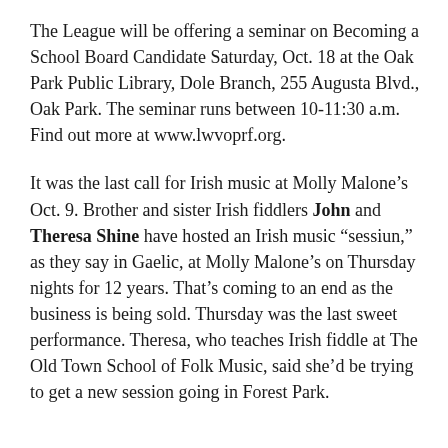The League will be offering a seminar on Becoming a School Board Candidate Saturday, Oct. 18 at the Oak Park Public Library, Dole Branch, 255 Augusta Blvd., Oak Park. The seminar runs between 10-11:30 a.m. Find out more at www.lwvoprf.org.
It was the last call for Irish music at Molly Malone's Oct. 9. Brother and sister Irish fiddlers John and Theresa Shine have hosted an Irish music “sessiun,” as they say in Gaelic, at Molly Malone’s on Thursday nights for 12 years. That’s coming to an end as the business is being sold. Thursday was the last sweet performance. Theresa, who teaches Irish fiddle at The Old Town School of Folk Music, said she’d be trying to get a new session going in Forest Park.